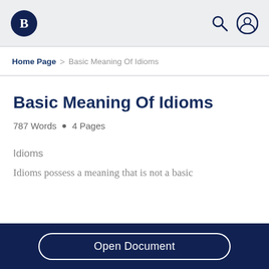Bartleby logo, search icon, user icon
Home Page > Basic Meaning Of Idioms
Basic Meaning Of Idioms
787 Words • 4 Pages
Idioms
Idioms possess a meaning that is not a basic
Open Document